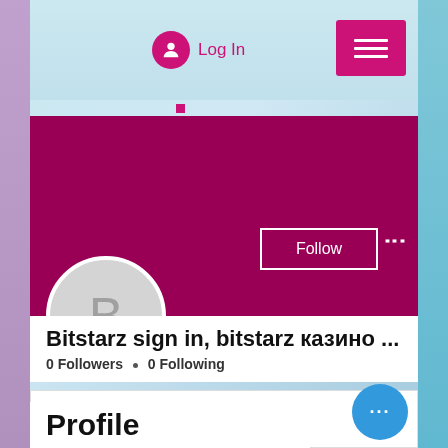[Figure (screenshot): Website UI screenshot showing a social profile page with navigation bar containing Log In button and hamburger menu, a magenta/pink banner header, avatar circle with letter B, Follow button, profile title 'Bitstarz sign in, bitstarz казино ...', follower counts, posts section, and Profile heading at bottom. A blue floating action button is visible in the lower right.]
Log In
Bitstarz sign in, bitstarz казино ...
0 Followers • 0 Following
Profile